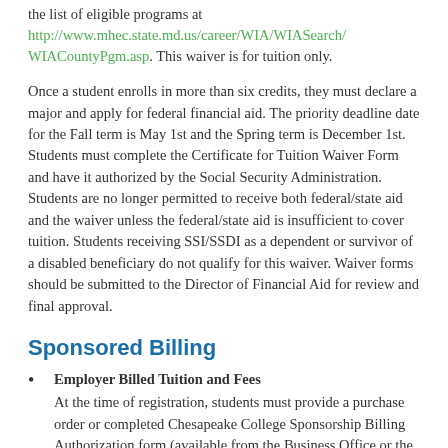the list of eligible programs at http://www.mhec.state.md.us/career/WIA/WIASearch/WIACountyPgm.asp. This waiver is for tuition only.
Once a student enrolls in more than six credits, they must declare a major and apply for federal financial aid. The priority deadline date for the Fall term is May 1st and the Spring term is December 1st. Students must complete the Certificate for Tuition Waiver Form and have it authorized by the Social Security Administration. Students are no longer permitted to receive both federal/state aid and the waiver unless the federal/state aid is insufficient to cover tuition. Students receiving SSI/SSDI as a dependent or survivor of a disabled beneficiary do not qualify for this waiver. Waiver forms should be submitted to the Director of Financial Aid for review and final approval.
Sponsored Billing
Employer Billed Tuition and Fees
At the time of registration, students must provide a purchase order or completed Chesapeake College Sponsorship Billing Authorization form (available from the Business Office or the Web). Include the employee's name, social security number,